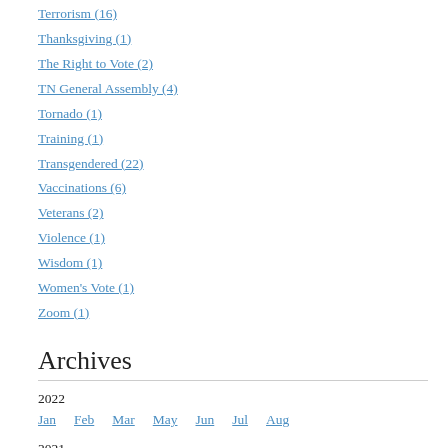Terrorism (16)
Thanksgiving (1)
The Right to Vote (2)
TN General Assembly (4)
Tornado (1)
Training (1)
Transgendered (22)
Vaccinations (6)
Veterans (2)
Violence (1)
Wisdom (1)
Women's Vote (1)
Zoom (1)
Archives
2022
Jan  Feb  Mar  May  Jun  Jul  Aug
2021
Jan  Feb  Mar  Apr  May  Jun  Jul  Aug  Sep
Oct  Nov  Dec